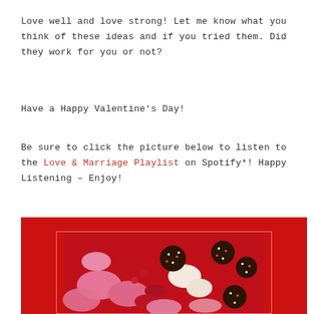Love well and love strong! Let me know what you think of these ideas and if you tried them. Did they work for you or not?
Have a Happy Valentine's Day!
Be sure to click the picture below to listen to the Love & Marriage Playlist on Spotify*! Happy Listening – Enjoy!
[Figure (photo): Red background with an inner framed image of Valentine's Day chocolate and candy — pink, red, and white heart-shaped candies and chocolate-covered sweets with sprinkles on a red surface.]